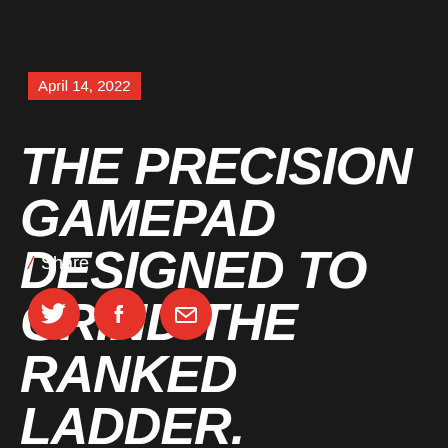April 14, 2022
THE PRECISION GAMEPAD DESIGNED TO GRIND THE RANKED LADDER. RELOAD, RESTART, SUSTAIN.
/ Share
[Figure (infographic): Three red circular social media share icons: Twitter bird, Facebook f, and envelope/email icon]